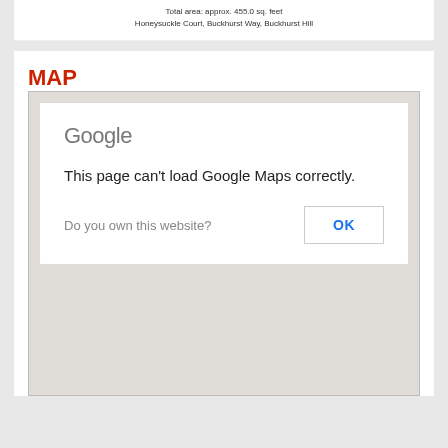Total area: approx. 455.0 sq. feet
Honeysuckle Court, Buckhurst Way, Buckhurst Hill
MAP
[Figure (screenshot): Google Maps error dialog showing 'This page can't load Google Maps correctly.' with a grey map background and OK button. Text: 'Do you own this website?' with an OK button.]